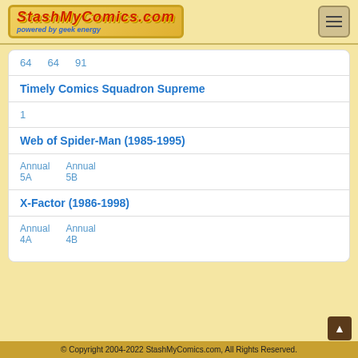StashMyComics.com - powered by geek energy
64   64   91
Timely Comics Squadron Supreme
1
Web of Spider-Man (1985-1995)
Annual 5A   Annual 5B
X-Factor (1986-1998)
Annual 4A   Annual 4B
© Copyright 2004-2022 StashMyComics.com, All Rights Reserved.